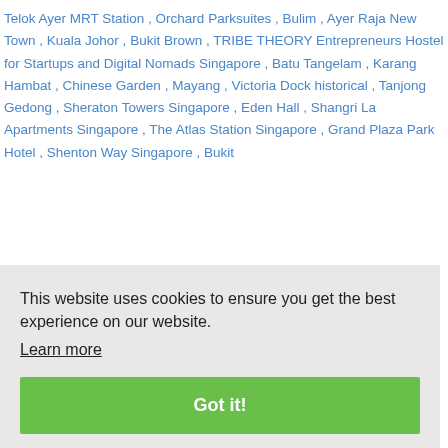Telok Ayer MRT Station , Orchard Parksuites , Bulim , Ayer Raja New Town , Kuala Johor , Bukit Brown , TRIBE THEORY Entrepreneurs Hostel for Startups and Digital Nomads Singapore , Batu Tangelam , Karang Hambat , Chinese Garden , Mayang , Victoria Dock historical , Tanjong Gedong , Sheraton Towers Singapore , Eden Hall , Shangri La Apartments Singapore , The Atlas Station Singapore , Grand Plaza Park Hotel , Shenton Way Singapore , Bukit
This website uses cookies to ensure you get the best experience on our website. Learn more
Got it!
Going to Croatia